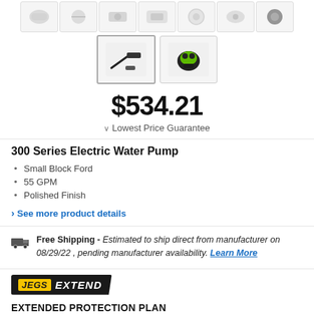[Figure (photo): Row of 7 product thumbnail images of electric water pump components]
[Figure (photo): Two selected product thumbnails: one showing cable/wire assembly, one showing green and black electric water pump]
$534.21
Lowest Price Guarantee
300 Series Electric Water Pump
Small Block Ford
55 GPM
Polished Finish
See more product details
Free Shipping - Estimated to ship direct from manufacturer on 08/29/22 , pending manufacturer availability. Learn More
[Figure (logo): JEGS EXTEND logo banner in black with yellow JEGS text and white EXTEND text]
EXTENDED PROTECTION PLAN
Add product protection by Extend